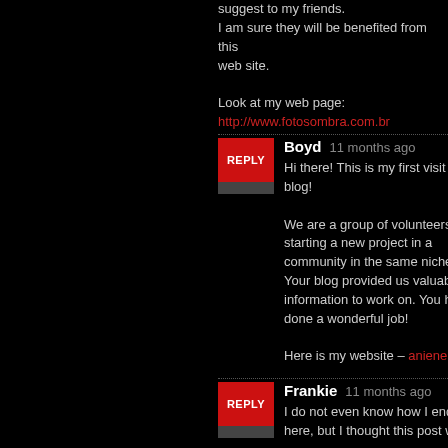suggest to my friends.
I am sure they will be benefited from this
web site.

Look at my web page:
http://www.fotosombra.com.br
Boyd  11 months ago
Hi there! This is my first visit to your blog!

We are a group of volunteers and starting a new project in a community in the same niche.
Your blog provided us valuable information to work on. You have done a wonderful job!

Here is my website – aniene.net
Frankie  11 months ago
I do not even know how I ended up here, but I thought this post was